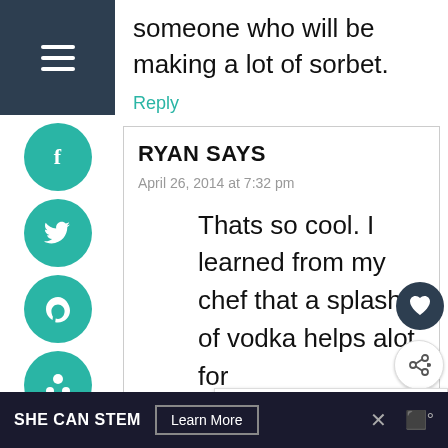[Figure (screenshot): Left sidebar with dark navy menu bar containing hamburger icon, and teal social sharing buttons (Facebook, Twitter, Pocket, Pinterest, Yummly, Email)]
someone who will be making a lot of sorbet.
Reply
RYAN SAYS
April 26, 2014 at 7:32 pm
Thats so cool. I learned from my chef that a splash of vodka helps alot for
[Figure (infographic): What's Next panel showing Bison Burger Recipe with food image]
SHE CAN STEM   Learn More   ×